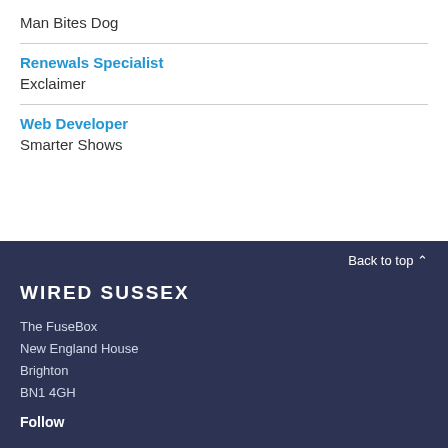Man Bites Dog
Renewals Specialist
Exclaimer
Web Developer
Smarter Shows
Back to top ^
WIRED SUSSEX
The FuseBox
New England House
Brighton
BN1 4GH
Follow